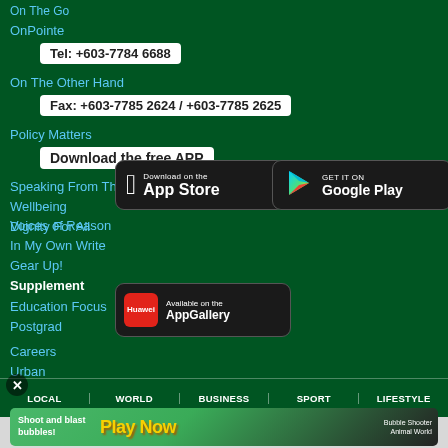On The Go
OnPointe
Tel: +603-7784 6688
On The Other Hand
Fax: +603-7785 2624 / +603-7785 2625
Policy Matters
Download the free APP
Speaking From The Heart
Wellbeing
Dignity For All
[Figure (screenshot): Download on the App Store button]
[Figure (screenshot): Get it on Google Play button]
Voices of Reason
In My Own Write
Gear Up!
Supplement
Education Focus
Postgrad
[Figure (screenshot): Available on the AppGallery button]
Careers
Urban
Special Supplement
Berita
Images
More
Spotlight
LOCAL | WORLD | BUSINESS | SPORT | LIFESTYLE
[Figure (screenshot): Advertisement banner: Play Now - Bubble Shooter Animal World game]